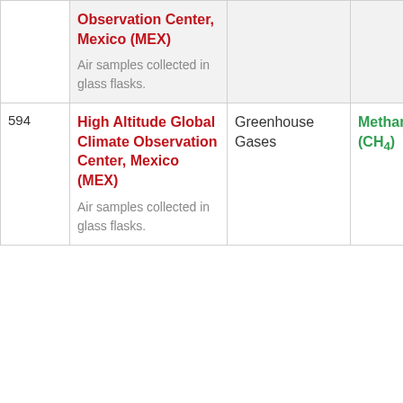| # | Station Name | Category | Gas |  |
| --- | --- | --- | --- | --- |
|  | Observation Center, Mexico (MEX)
Air samples collected in glass flasks. |  |  |  |
| 594 | High Altitude Global Climate Observation Center, Mexico (MEX)
Air samples collected in glass flasks. | Greenhouse Gases | Methane (CH4) | F |